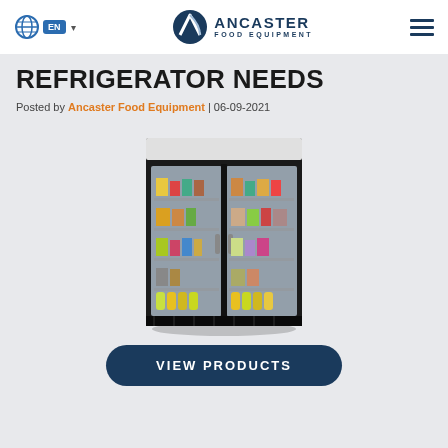EN | ANCASTER FOOD EQUIPMENT
REFRIGERATOR NEEDS
Posted by Ancaster Food Equipment | 06-09-2021
[Figure (photo): A commercial double glass-door merchandiser refrigerator filled with food and beverage products on multiple shelves, black exterior]
VIEW PRODUCTS